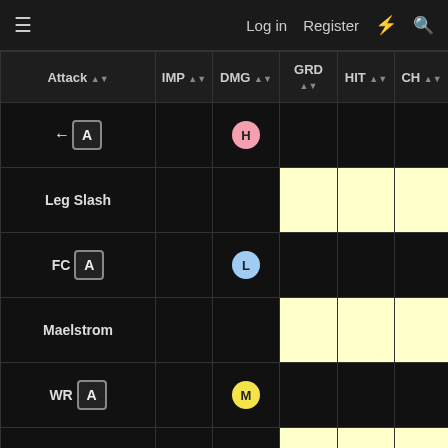Log in  Register
| Attack | IMP | DMG | GRD | HIT | CH |
| --- | --- | --- | --- | --- | --- |
| ← A |  | H |  |  |  |
| Leg Slash |  |  |  |  |  |
| FC A |  | L |  |  |  |
| Maelstrom |  |  |  |  |  |
| WR A |  | M |  |  |  |
| Maelstrom ~ Side Hold |  |  |  |  |  |
| WR A |  | M |  |  |  |
| Maelstrom |  |  |  |  |  |